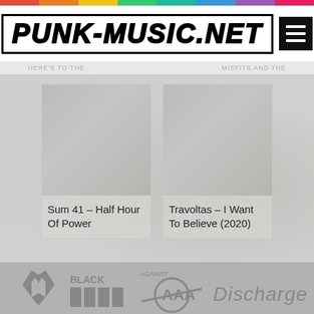PUNK-MUSIC.NET
[Figure (screenshot): Card with album art placeholder for Sum 41 - Half Hour Of Power]
Sum 41 – Half Hour Of Power
[Figure (screenshot): Card with album art placeholder for Travoltas – I Want To Believe (2020)]
Travoltas – I Want To Believe (2020)
[Figure (illustration): Footer with punk band logos: Dead Kennedys, Black Flag, Against All Authority, Discharge]